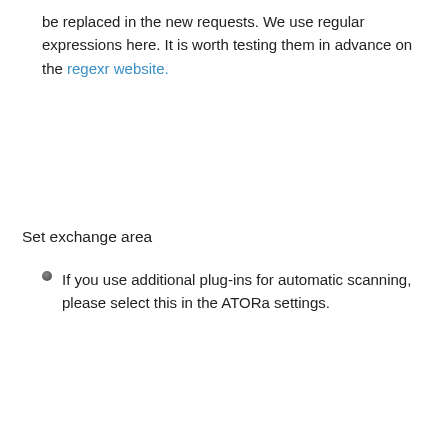be replaced in the new requests. We use regular expressions here. It is worth testing them in advance on the regexr website.
Set exchange area
If you use additional plug-ins for automatic scanning, please select this in the ATORa settings.